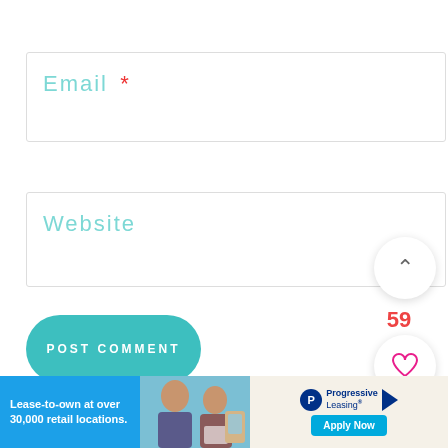Email *
Website
POST COMMENT
59
[Figure (screenshot): Web form with Email and Website input fields, a teal POST COMMENT button, scroll/heart/search floating action buttons on the right, a partial photo of a person at bottom, and a Progressive Leasing advertisement banner at the bottom.]
Lease-to-own at over 30,000 retail locations.
Progressive Leasing  Apply Now